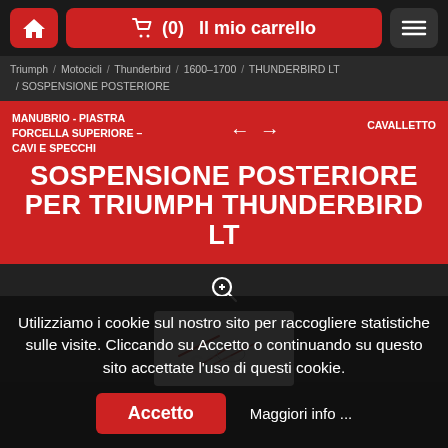🛒 (0)  Il mio carrello
Triumph / Motocicli / Thunderbird / 1600–1700 / THUNDERBIRD LT / SOSPENSIONE POSTERIORE
MANUBRIO - PIASTRA FORCELLA SUPERIORE - CAVI E SPECCHI  ←  →  CAVALLETTO
SOSPENSIONE POSTERIORE PER TRIUMPH THUNDERBIRD LT
[Figure (photo): Parts diagram image with zoom icon above]
Utilizziamo i cookie sul nostro sito per raccogliere statistiche sulle visite. Cliccando su Accetto o continuando su questo sito accettate l'uso di questi cookie.
Accetto   Maggiori info ...